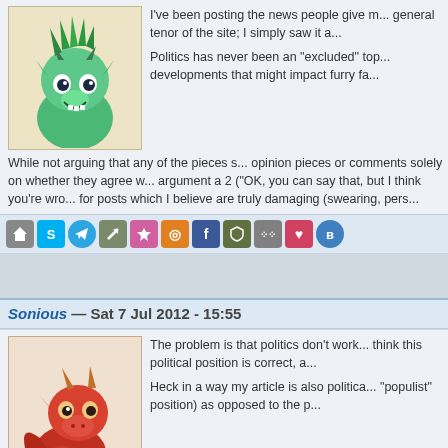I've been posting the news people give m... general tenor of the site; I simply saw it a...
Politics has never been an "excluded" top... developments that might impact furry fa...
While not arguing that any of the pieces s... opinion pieces or comments solely on whether they agree w... argument a 2 ("OK, you can say that, but I think you're wro... for posts which I believe are truly damaging (swearing, pers...
[Figure (illustration): Green dragon/creature avatar with spiky green hair, smiling, illustrated furry style]
[Figure (illustration): Red dragon/creature avatar, hunched posture, illustrated furry style]
Sonious — Sat 7 Jul 2012 - 15:55
The problem is that politics don't work... think this political position is correct, a...
Heck in a way my article is also politica... "populist" position) as opposed to the p...
The thing is you can think they're doing... did when we back and forthed in the comments, but I te... debating, I'm biased. Taking these things into considerat... site, you have to bear this in mind if you pull over the cu...